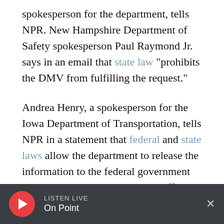spokesperson for the department, tells NPR. New Hampshire Department of Safety spokesperson Paul Raymond Jr. says in an email that state law "prohibits the DMV from fulfilling the request."
Andrea Henry, a spokesperson for the Iowa Department of Transportation, tells NPR in a statement that federal and state laws allow the department to release the information to the federal government when it is used to "carry out its official government purposes."
South Carolina Department of Motor Vehicles spokesperson Julia Bauscom in an email that
LISTEN LIVE On Point